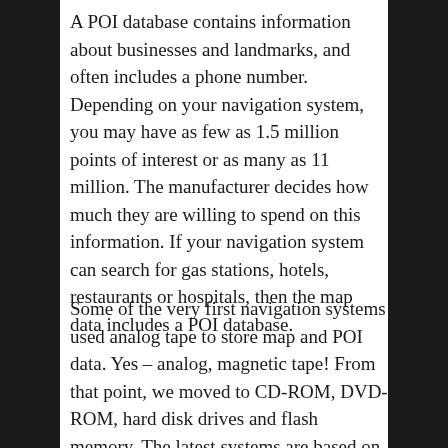A POI database contains information about businesses and landmarks, and often includes a phone number. Depending on your navigation system, you may have as few as 1.5 million points of interest or as many as 11 million. The manufacturer decides how much they are willing to spend on this information. If your navigation system can search for gas stations, hotels, restaurants or hospitals, then the map data includes a POI database.
Some of the very first navigation systems used analog tape to store map and POI data. Yes – analog, magnetic tape! From that point, we moved to CD-ROM, DVD-ROM, hard disk drives and flash memory. The latest systems are based on smartphones and don't have the map data